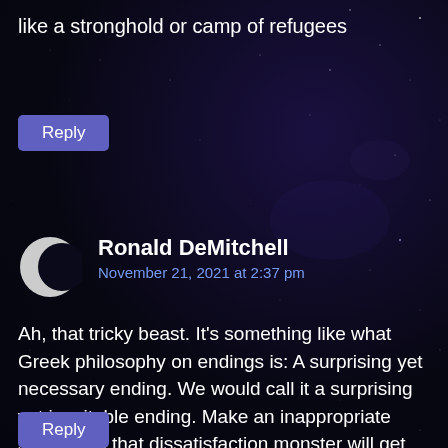like a stronghold or camp of refugees
Reply
Ronald DeMitchell
November 21, 2021 at 2:37 pm
Ah, that tricky beast. It's something like what Greek philosophy on endings is: A surprising yet necessary ending. We would call it a surprising yet inevitable ending. Make an inappropriate setup, and that dissatisfaction monster will get you like an angry lion.
Reply